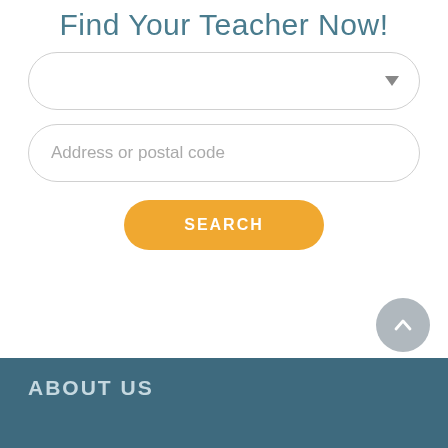Find Your Teacher Now!
[Figure (screenshot): Dropdown selector input box with rounded border and downward arrow indicator]
Address or postal code
SEARCH
[Figure (other): Circular scroll-to-top button with upward chevron arrow]
ABOUT US